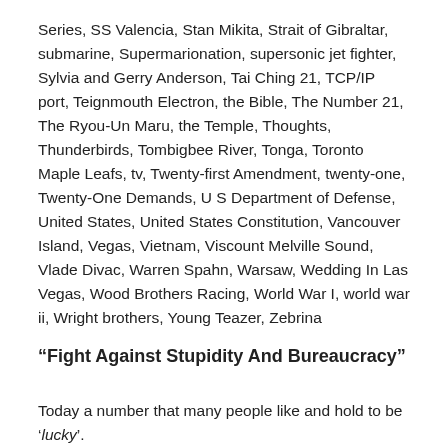Series, SS Valencia, Stan Mikita, Strait of Gibraltar, submarine, Supermarionation, supersonic jet fighter, Sylvia and Gerry Anderson, Tai Ching 21, TCP/IP port, Teignmouth Electron, the Bible, The Number 21, The Ryou-Un Maru, the Temple, Thoughts, Thunderbirds, Tombigbee River, Tonga, Toronto Maple Leafs, tv, Twenty-first Amendment, twenty-one, Twenty-One Demands, U S Department of Defense, United States, United States Constitution, Vancouver Island, Vegas, Vietnam, Viscount Melville Sound, Vlade Divac, Warren Spahn, Warsaw, Wedding In Las Vegas, Wood Brothers Racing, World War I, world war ii, Wright brothers, Young Teazer, Zebrina
“Fight Against Stupidity And Bureaucracy”
Today a number that many people like and hold to be ‘lucky’.
The Number 21